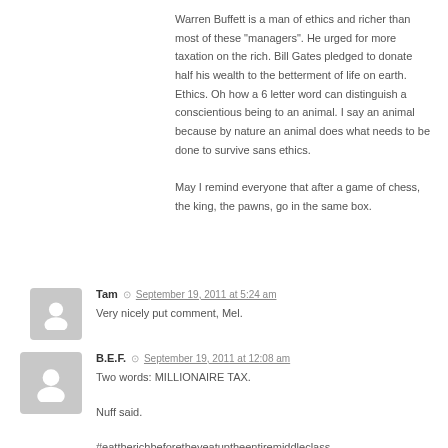Warren Buffett is a man of ethics and richer than most of these "managers". He urged for more taxation on the rich. Bill Gates pledged to donate half his wealth to the betterment of life on earth. Ethics. Oh how a 6 letter word can distinguish a conscientious being to an animal. I say an animal because by nature an animal does what needs to be done to survive sans ethics.
May I remind everyone that after a game of chess, the king, the pawns, go in the same box.
Tam  September 19, 2011 at 5:24 am
Very nicely put comment, Mel.
B.E.F.  September 19, 2011 at 12:08 am
Two words: MILLIONAIRE TAX.

Nuff said.

#eattherichbeforetheyeatuptheentiremiddleclass